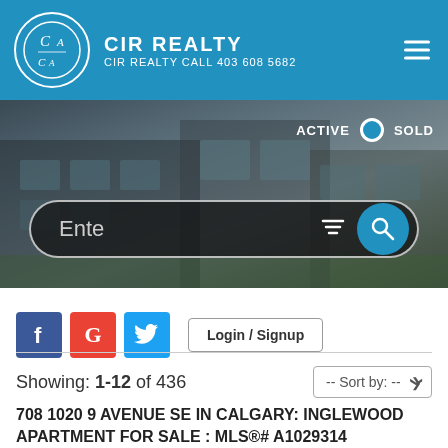CIR REALTY — CIR REALTY CALL 403 608 5682
[Figure (screenshot): Hero photograph of modern townhomes/apartments exterior with dark cladding and large windows; overlaid with ACTIVE/SOLD toggle and search bar with filter icon and blue search button]
ACTIVE   SOLD
Ente
f  G  (Twitter bird)  Login / Signup
Showing: 1-12 of 436
-- Sort by: --
708 1020 9 AVENUE SE IN CALGARY: INGLEWOOD APARTMENT FOR SALE : MLS®# A1029314
[Figure (photo): Partial preview of listing photo for 708 1020 9 Avenue SE]